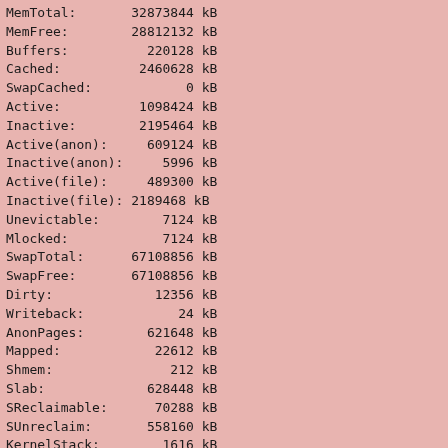| Key | Value | Unit |
| --- | --- | --- |
| MemTotal: | 32873844 | kB |
| MemFree: | 28812132 | kB |
| Buffers: | 220128 | kB |
| Cached: | 2460628 | kB |
| SwapCached: | 0 | kB |
| Active: | 1098424 | kB |
| Inactive: | 2195464 | kB |
| Active(anon): | 609124 | kB |
| Inactive(anon): | 5996 | kB |
| Active(file): | 489300 | kB |
| Inactive(file): | 2189468 | kB |
| Unevictable: | 7124 | kB |
| Mlocked: | 7124 | kB |
| SwapTotal: | 67108856 | kB |
| SwapFree: | 67108856 | kB |
| Dirty: | 12356 | kB |
| Writeback: | 24 | kB |
| AnonPages: | 621648 | kB |
| Mapped: | 22612 | kB |
| Shmem: | 212 | kB |
| Slab: | 628448 | kB |
| SReclaimable: | 70288 | kB |
| SUnreclaim: | 558160 | kB |
| KernelStack: | 1616 | kB |
| PageTables: | 5648 | kB |
| NFS_Unstable: | 0 | kB |
| Bounce: | 0 | kB |
| WritebackTmp: | 0 | kB |
| CommitLimit: | 83545776 | kB |
| Committed_AS: | 775592 | kB |
| VmallocTotal: | 34359738367 | kB |
| VmallocUsed: | 346376 | kB |